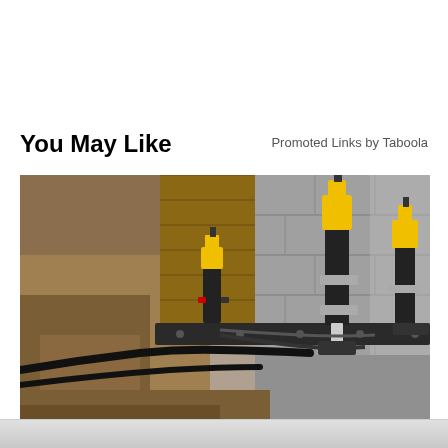You May Like
Promoted Links by Taboola
[Figure (photo): Construction or foundation repair scene showing hydraulic or pneumatic equipment with yellow-topped cylinders/pistons mounted on a concrete block wall, with cables and hoses running along the base of the wall in an excavated trench with exposed soil.]